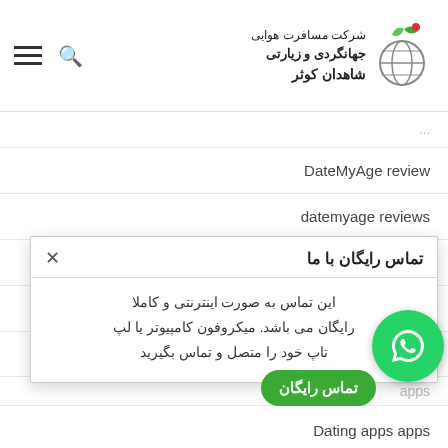شرکت مسافرت هوایی جهانگردی و زیارتی شاهدان کوثر
DateMyAge review
datemyage reviews
DateMyAge visitors
datierung-nach-alter bewertung
[Figure (screenshot): Popup dialog titled 'تماس رایگان با ما' with Persian text explaining free internet contact service. WhatsApp green circle button and 'تماس رایگان' button visible.]
Dating apps apps
Dating ... review
dating by age dating